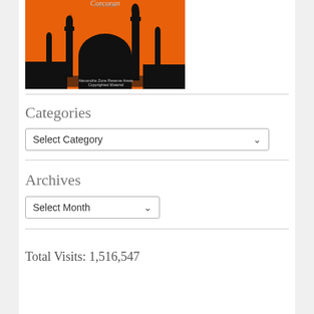[Figure (illustration): Book cover of 'Corcoran' with orange background and black silhouette of mosque/minaret skyline. Small text at bottom reads 'Alexandria Zone Reserve Areas / Copyrighted Material'.]
Categories
[Figure (screenshot): Dropdown select box labeled 'Select Category' with a dropdown arrow on the right.]
Archives
[Figure (screenshot): Dropdown select box labeled 'Select Month' with a dropdown arrow on the right.]
Total Visits: 1,516,547